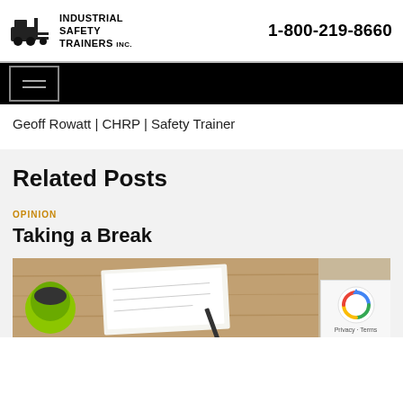Industrial Safety Trainers Inc. | 1-800-219-8660
[Figure (logo): Industrial Safety Trainers Inc. logo with forklift icon]
Geoff Rowatt | CHRP | Safety Trainer
Related Posts
OPINION
Taking a Break
[Figure (photo): Photo of a coffee cup and notepad on a wooden table]